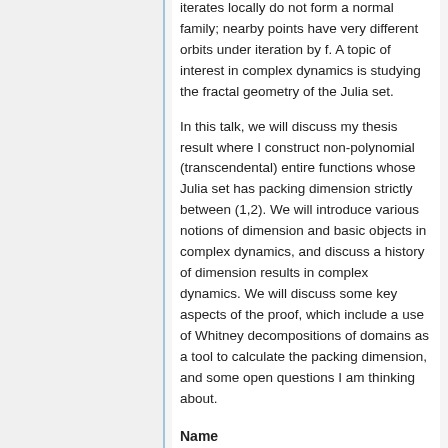iterates locally do not form a normal family; nearby points have very different orbits under iteration by f. A topic of interest in complex dynamics is studying the fractal geometry of the Julia set.
In this talk, we will discuss my thesis result where I construct non-polynomial (transcendental) entire functions whose Julia set has packing dimension strictly between (1,2). We will introduce various notions of dimension and basic objects in complex dynamics, and discuss a history of dimension results in complex dynamics. We will discuss some key aspects of the proof, which include a use of Whitney decompositions of domains as a tool to calculate the packing dimension, and some open questions I am thinking about.
Name